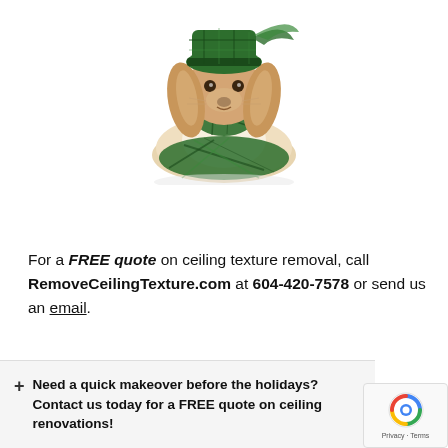[Figure (photo): A small long-haired dachshund dog wearing a green plaid costume/hat, photographed against a white background]
For a FREE quote on ceiling texture removal, call RemoveCeilingTexture.com at 604-420-7578 or send us an email.
+ Need a quick makeover before the holidays? Contact us today for a FREE quote on ceiling renovations!